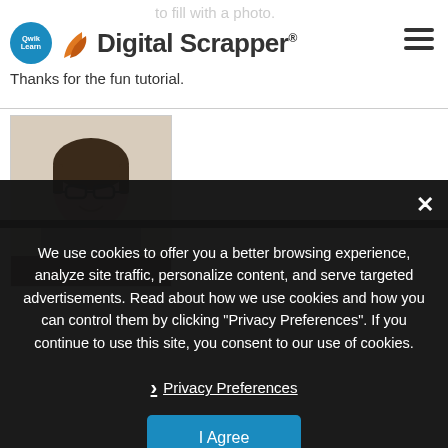Digital Scrapper
to fill with a photo.
Thanks for the fun tutorial.
[Figure (photo): Profile photo of a woman with short brown hair and glasses, smiling, wearing a gray top]
We use cookies to offer you a better browsing experience, analyze site traffic, personalize content, and serve targeted advertisements. Read about how we use cookies and how you can control them by clicking "Privacy Preferences". If you continue to use this site, you consent to our use of cookies.
Privacy Preferences
I Agree